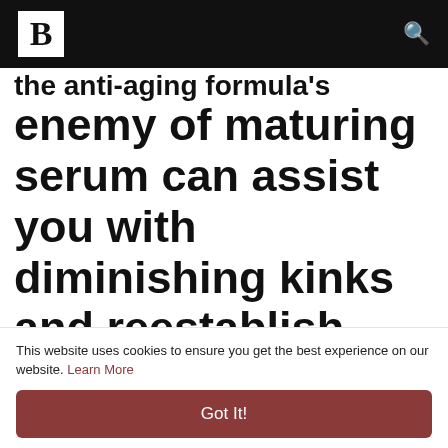B
enemy of maturing serum can assist you with diminishing kinks and reestablish your childhood! Something else, click the pennant beneath to check whether you can guarantee
This website uses cookies to ensure you get the best experience on our website. Learn More
Got It!